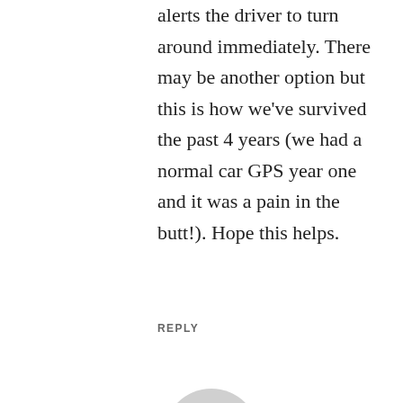alerts the driver to turn around immediately. There may be another option but this is how we've survived the past 4 years (we had a normal car GPS year one and it was a pain in the butt!). Hope this helps.
REPLY
[Figure (illustration): Default grey user avatar icon — circular silhouette of a person's head and shoulders on a white background]
MICHAEL
Hey, the audio and video came thorough perfectly. I think that's the best way to plan. Zero in on a couple of important events and the go with the flow with the